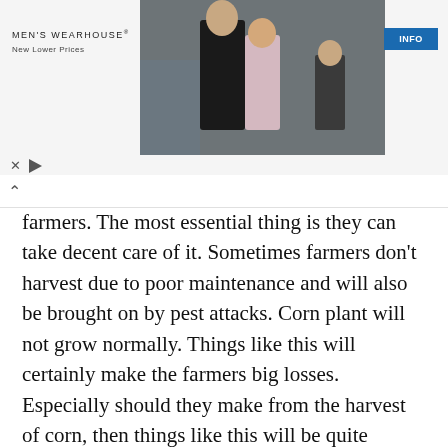[Figure (screenshot): Men's Wearhouse advertisement banner showing a couple in formal wear and a child in a suit, with INFO button]
farmers. The most essential thing is they can take decent care of it. Sometimes farmers don't harvest due to poor maintenance and will also be brought on by pest attacks. Corn plant will not grow normally. Things like this will certainly make the farmers big losses. Especially should they make from the harvest of corn, then things like this will be quite worrying.
The corn crop will lead to u futile